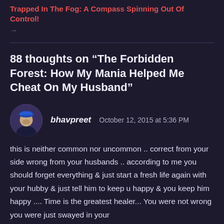Trapped In The Fog: A Compass Spinning Out Of Control!
→
88 thoughts on “The Forbidden Forest: How My Mania Helped Me Cheat On My Husband”
[Figure (photo): Avatar photo of commenter bhavpreet: a man wearing a turban and suit]
bhavpreet   October 12, 2015 at 5:36 PM
this is neither common nor uncommon .. correct from your side wrong from your husbands .. according to me you should forget everything & just start a fresh life again with your hubby & just tell him to keep u happy & you keep him happy .... Time is the greatest healer... You were not wrong you were just swayed in your decisions at times ..... that is fulfilled now .. and that